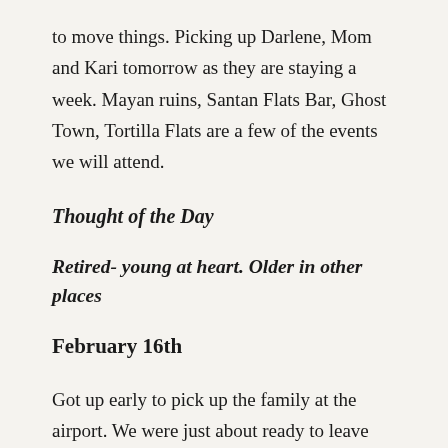to move things. Picking up Darlene, Mom and Kari tomorrow as they are staying a week. Mayan ruins, Santan Flats Bar, Ghost Town, Tortilla Flats are a few of the events we will attend.
Thought of the Day
Retired- young at heart. Older in other places
February 16th
Got up early to pick up the family at the airport. We were just about ready to leave when the phone rung. It was Darlene. Their plane arrived 1 hour earlier than expected. Luckily we are only 20-25 minutes away so hopped in our car and headed down to the